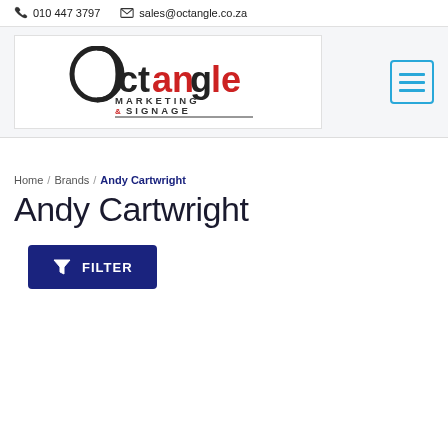010 447 3797   sales@octangle.co.za
[Figure (logo): Octangle Marketing & Signage logo with stylized O, black and red text]
Home / Brands / Andy Cartwright
Andy Cartwright
FILTER